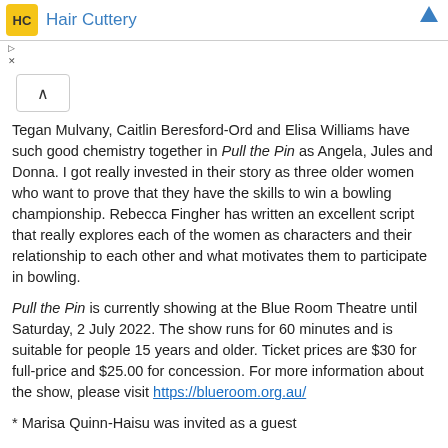Hair Cuttery
Tegan Mulvany, Caitlin Beresford-Ord and Elisa Williams have such good chemistry together in Pull the Pin as Angela, Jules and Donna. I got really invested in their story as three older women who want to prove that they have the skills to win a bowling championship. Rebecca Fingher has written an excellent script that really explores each of the women as characters and their relationship to each other and what motivates them to participate in bowling.
Pull the Pin is currently showing at the Blue Room Theatre until Saturday, 2 July 2022. The show runs for 60 minutes and is suitable for people 15 years and older. Ticket prices are $30 for full-price and $25.00 for concession. For more information about the show, please visit https://blueroom.org.au/
* Marisa Quinn-Haisu was invited as a guest
Help us improve  Click here if you liked this article  19 ♥